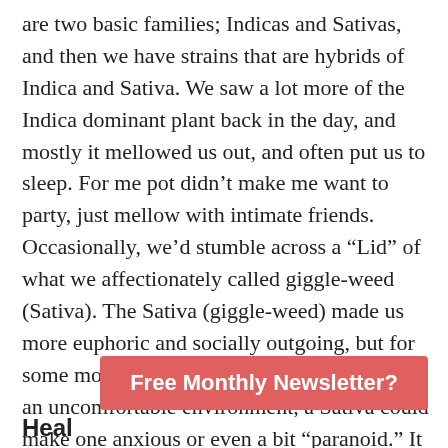are two basic families; Indicas and Sativas, and then we have strains that are hybrids of Indica and Sativa. We saw a lot more of the Indica dominant plant back in the day, and mostly it mellowed us out, and often put us to sleep. For me pot didn't make me want to party, just mellow with intimate friends.  Occasionally, we'd stumble across a “Lid” of what we affectionately called giggle-weed (Sativa). The Sativa (giggle-weed) made us more euphoric and socially outgoing, but for some more anxious individuals, or if used in an uncomfortable environment, a Sativa could make one anxious or even a bit “paranoid.” It is not unusual for our minds to get busy thinking; often introspectively about every possible facet of our lives and even the essence of our being. Sometimes the perspective we gain allows us to stand back from our lives to see a different view of ourselves, our families, and friends.
Free Monthly Newsletter?
Heal